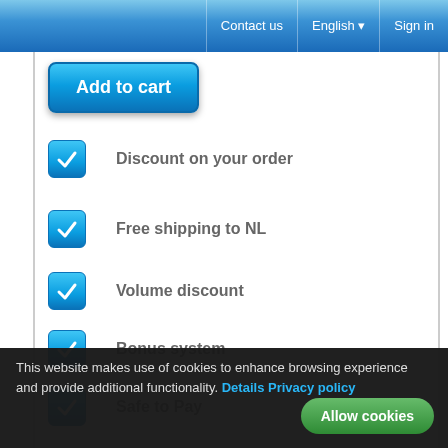Contact us | English | Sign in
[Figure (screenshot): Add to cart button - blue rounded rectangle]
Discount on your order
Free shipping to NL
Volume discount
Bonus system
Safe to Pay
Money back guarantee
QShops certification
This website makes use of cookies to enhance browsing experience and provide additional functionality. Details Privacy policy
Allow cookies